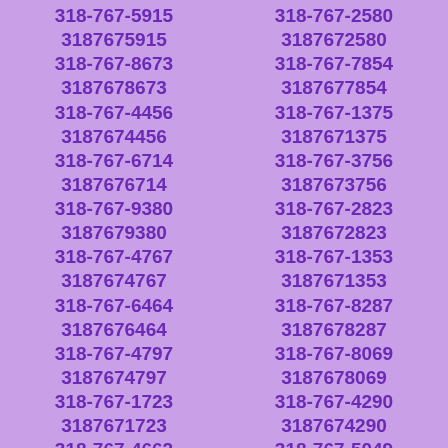| 318-767-5915 | 3187675915 | 318-767-2580 | 3187672580 |
| 318-767-8673 | 3187678673 | 318-767-7854 | 3187677854 |
| 318-767-4456 | 3187674456 | 318-767-1375 | 3187671375 |
| 318-767-6714 | 3187676714 | 318-767-3756 | 3187673756 |
| 318-767-9380 | 3187679380 | 318-767-2823 | 3187672823 |
| 318-767-4767 | 3187674767 | 318-767-1353 | 3187671353 |
| 318-767-6464 | 3187676464 | 318-767-8287 | 3187678287 |
| 318-767-4797 | 3187674797 | 318-767-8069 | 3187678069 |
| 318-767-1723 | 3187671723 | 318-767-4290 | 3187674290 |
| 318-767-4662 | 3187674662 | 318-767-5049 | 3187675049 |
| 318-767-5637 | 3187675637 | 318-767-6261 | 3187676261 |
| 318-767-4686 | 3187674686 | 318-767-6381 | 3187676381 |
| 318-767-6500 | 3187676500 | 318-767-9745 | 3187679745 |
| 318-767-3407 | 3187673407 | 318-767-7794 | 3187677794 |
| 318-767-4795 | 3187674795 | 318-767-0816 | 3187670816 |
| 318-767-6578 | 3187676578 | 318-767-3284 | 3187673284 |
| 318-767-6665 | 3187676665 | 318-767-6275 | 3187676275 |
| 318-767-7031 | 3187677031 | 318-767-9186 | 3187679186 |
| 318-767-7726 | 3187677726 | 318-767-9818 | 3187679818 |
| 318-767-7887 | 3187677887 | 318-767-6726 | 3187676726 |
| 318-767-9222 | 3187679222 | 318-767-1488 | 3187671488 |